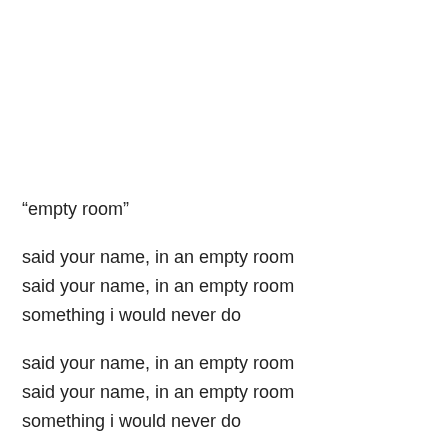“empty room”
said your name, in an empty room
said your name, in an empty room
something i would never do
said your name, in an empty room
said your name, in an empty room
something i would never do
i’m alone again